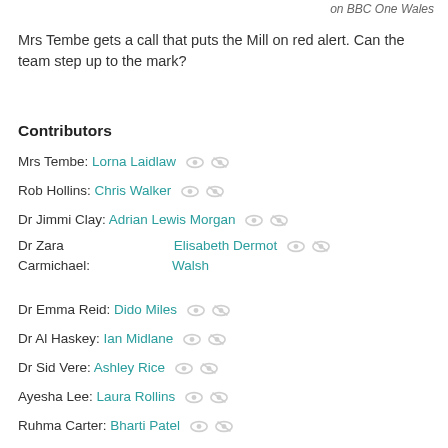on BBC One Wales
Mrs Tembe gets a call that puts the Mill on red alert. Can the team step up to the mark?
Contributors
Mrs Tembe: Lorna Laidlaw
Rob Hollins: Chris Walker
Dr Jimmi Clay: Adrian Lewis Morgan
Dr Zara Carmichael: Elisabeth Dermot Walsh
Dr Emma Reid: Dido Miles
Dr Al Haskey: Ian Midlane
Dr Sid Vere: Ashley Rice
Ayesha Lee: Laura Rollins
Ruhma Carter: Bharti Patel
Karen Hollins: Jan Pearson
Valerie Pitman: Sarah Moyle
Director: Vito Bruno
Producer: Caroline Slater